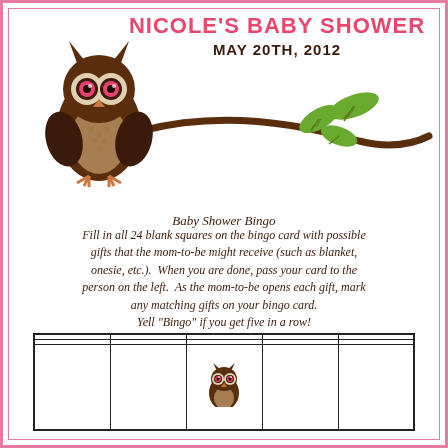NICOLE'S BABY SHOWER
MAY 20TH, 2012
[Figure (illustration): Cartoon owl sitting on a branch with green leaves, decorative illustration]
Baby Shower Bingo
Fill in all 24 blank squares on the bingo card with possible gifts that the mom-to-be might receive (such as blanket, onesie, etc.). When you are done, pass your card to the person on the left. As the mom-to-be opens each gift, mark any matching gifts on your bingo card. Yell "Bingo" if you get five in a row!
|  |  |  |  |  |
|  |  |  |  |  |
|  |  | FREE |  |  |